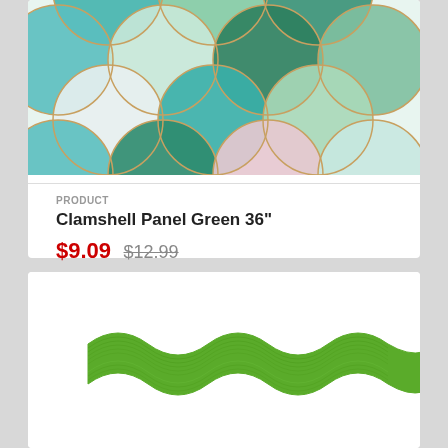[Figure (photo): Clamshell panel fabric in green tones with overlapping fan/scale shapes in various green, teal, and white patterned fabrics]
PRODUCT
Clamshell Panel Green 36"
$9.09 $12.99
[Figure (photo): Green ric-rac trim ribbon in a wavy zigzag pattern]